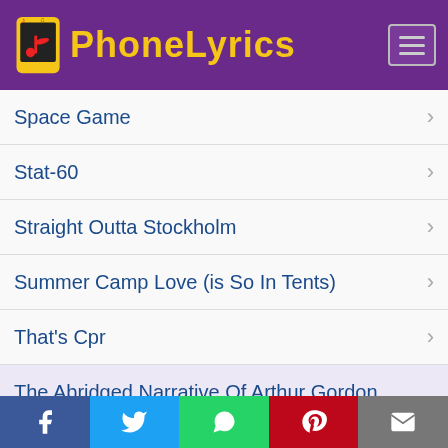[Figure (logo): PhoneLyrics app logo with musical note icon on purple header background]
Space Game
Stat-60
Straight Outta Stockholm
Summer Camp Love (is So In Tents)
That's Cpr
The Abridged Narrative Of Arthur Gordon Pym Of Nantucket
The Dialogue
The Lint Song
[Figure (screenshot): Social share bar with Facebook, Twitter, WhatsApp, Pinterest, and Email buttons]